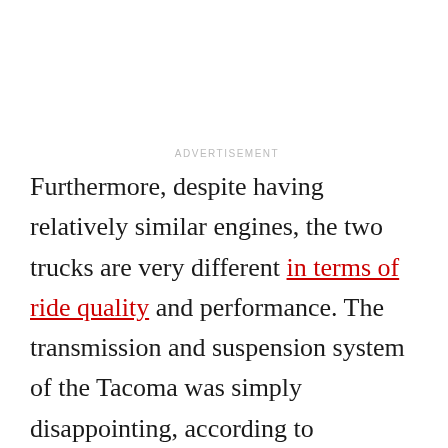ADVERTISEMENT
Furthermore, despite having relatively similar engines, the two trucks are very different in terms of ride quality and performance. The transmission and suspension system of the Tacoma was simply disappointing, according to MotorTrend. The trim that MotorTrend used was an off-roading trim, but the ride comfort it gave was still horrible. In comparison, the ride comfort of the Ridgeline was described by MotorTrend as “car-like.”